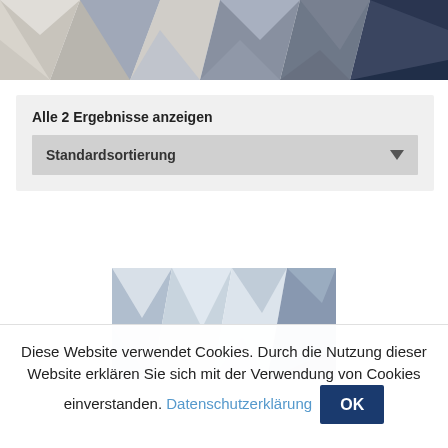[Figure (illustration): Abstract low-poly geometric banner image in shades of grey, beige, and dark navy at the top of the page]
Alle 2 Ergebnisse anzeigen
Standardsortierung
[Figure (illustration): Abstract low-poly geometric image in shades of blue, grey, and white — a product thumbnail]
Diese Website verwendet Cookies. Durch die Nutzung dieser Website erklären Sie sich mit der Verwendung von Cookies einverstanden. Datenschutzerklärung OK